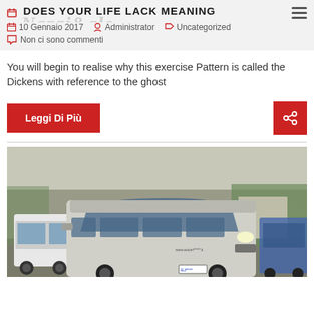DOES YOUR LIFE LACK MEANING
10 Gennaio 2017  Administrator  Uncategorized
Non ci sono commenti
You will begin to realise why this exercise Pattern is called the Dickens with reference to the ghost
[Figure (photo): A silver Ford Transit minivan in a parking lot, with other vans and cars visible in the background, trees and a building in the far background.]